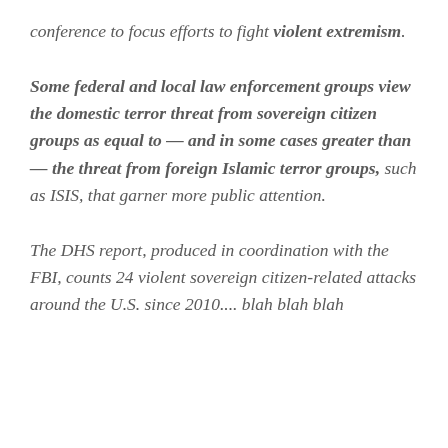conference to focus efforts to fight violent extremism.
Some federal and local law enforcement groups view the domestic terror threat from sovereign citizen groups as equal to — and in some cases greater than — the threat from foreign Islamic terror groups, such as ISIS, that garner more public attention.
The DHS report, produced in coordination with the FBI, counts 24 violent sovereign citizen-related attacks around the U.S. since 2010.... blah blah blah